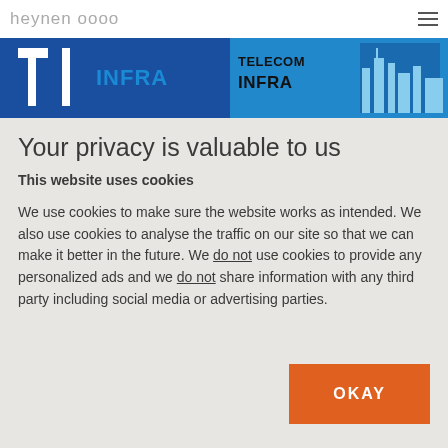heynen oooo
[Figure (photo): Banner image showing IT INFRA and TELECOM INFRA logos with blue background and city skyline]
Your privacy is valuable to us
This website uses cookies
We use cookies to make sure the website works as intended. We also use cookies to analyse the traffic on our site so that we can make it better in the future. We do not use cookies to provide any personalized ads and we do not share information with any third party including social media or advertising parties.
OKAY